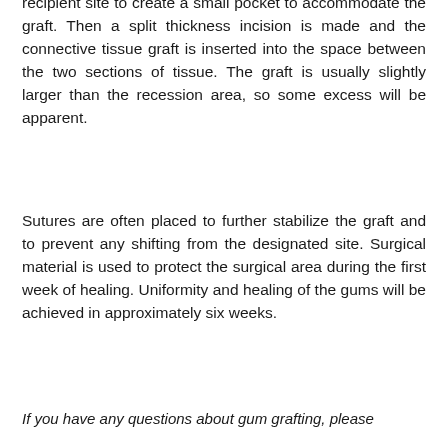recipient site to create a small pocket to accommodate the graft. Then a split thickness incision is made and the connective tissue graft is inserted into the space between the two sections of tissue. The graft is usually slightly larger than the recession area, so some excess will be apparent.
Sutures are often placed to further stabilize the graft and to prevent any shifting from the designated site. Surgical material is used to protect the surgical area during the first week of healing. Uniformity and healing of the gums will be achieved in approximately six weeks.
If you have any questions about gum grafting, please